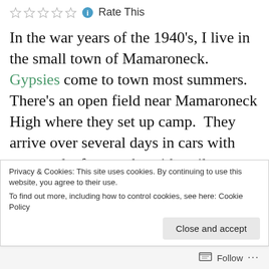☆☆☆☆☆ ℹ Rate This
In the war years of the 1940's, I live in the small town of Mamaroneck.  Gypsies come to town most summers.  There's an open field near Mamaroneck High where they set up camp.  They arrive over several days in cars with tents and a few trucks with trailers.  Many arrive in closed wagons, painted and decorated in once bright colors and, to me, mysterious looking scrolling designs and flowers.  Those wagons are pulled by large, well-cared for horses.  Gas is scarce during the war and
Privacy & Cookies: This site uses cookies. By continuing to use this website, you agree to their use.
To find out more, including how to control cookies, see here: Cookie Policy
Close and accept
Follow ...